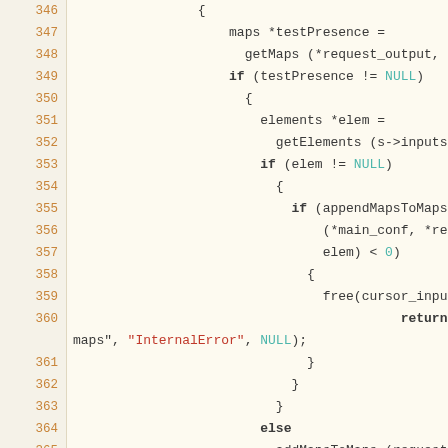[Figure (screenshot): Source code viewer showing C code lines 346-372 with line numbers in orange on a cream/tan background and code on a light yellow background. The code shows logic for maps, elements, error handling with getMaps, getElements, appendMapsToMaps, freeMaps, free, and return error functions.]